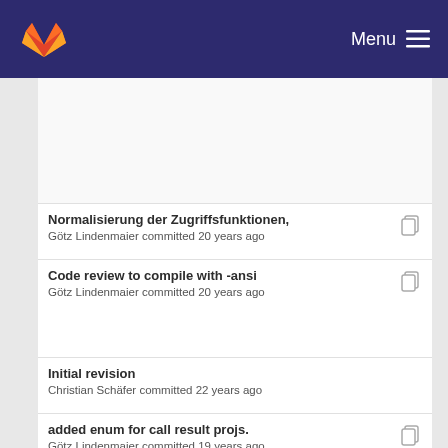GitLab Menu
Normalisierung der Zugriffsfunktionen,
Götz Lindenmaier committed 20 years ago
Code review to compile with -ansi
Götz Lindenmaier committed 20 years ago
Initial revision
Christian Schäfer committed 22 years ago
added enum for call result projs.
Götz Lindenmaier committed 19 years ago
new irmode field,
Imprint